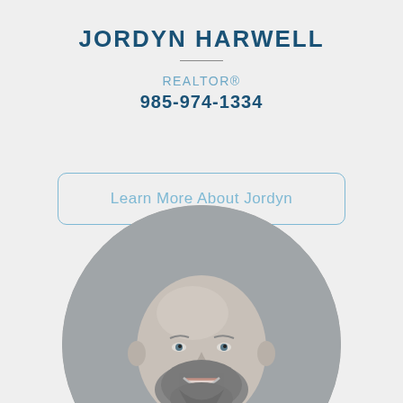JORDYN HARWELL
REALTOR®
985-974-1334
Learn More About Jordyn
[Figure (photo): Black and white circular headshot photo of a bald man with a beard, smiling, wearing a suit]